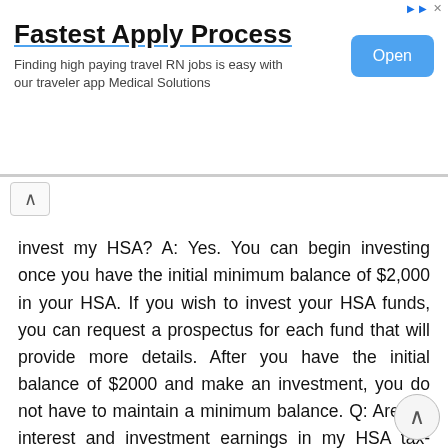[Figure (other): Advertisement banner: 'Fastest Apply Process' - Finding high paying travel RN jobs is easy with our traveler app Medical Solutions. Open button on right.]
invest my HSA? A: Yes. You can begin investing once you have the initial minimum balance of $2,000 in your HSA. If you wish to invest your HSA funds, you can request a prospectus for each fund that will provide more details. After you have the initial balance of $2000 and make an investment, you do not have to maintain a minimum balance. Q: Are the interest and investment earnings in my HSA tax-free? A: Yes, when the funds are distributed and used for a qualified medical expense. Interest and investment earnings grow tax-deferred in the account. Q: Are any administrative fees charged to my HSA? A: The college pays the fees to set up and maintain the account, but typical banking fees apply, such as charges for new checks, overdraft charges or charges for replacement debit cards. Upon enrollment in the program, you will receive information about the account, including the Health Savings Account Deposit Agreement and Disclosure Statement. Please refer to the Health Savings Account